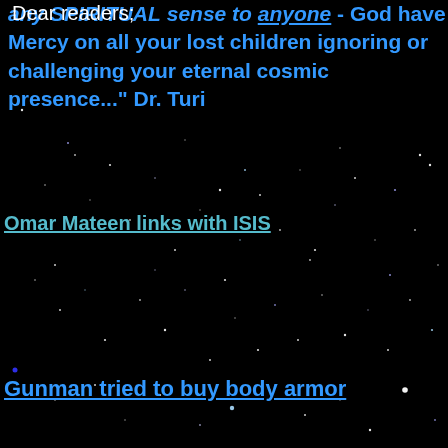any SPIRITUAL sense to anyone - God have Mercy on all your lost children ignoring or challenging your eternal cosmic presence..." Dr. Turi
Omar Mateen links with ISIS
[Figure (photo): Night sky background with scattered stars on black background]
Gunman tried to buy body armor
Dear readers;